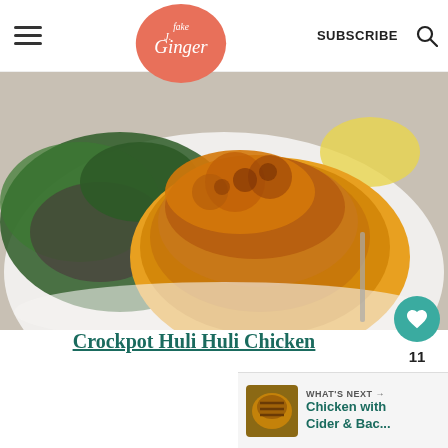Fake Ginger — SUBSCRIBE [search icon]
[Figure (photo): A golden-brown roasted chicken thigh on a white plate with kale and radicchio salad, on a rustic wooden surface]
Crockpot Huli Huli Chicken
11
[Figure (photo): WHAT'S NEXT → Chicken with Cider & Bac... thumbnail of grilled chicken]